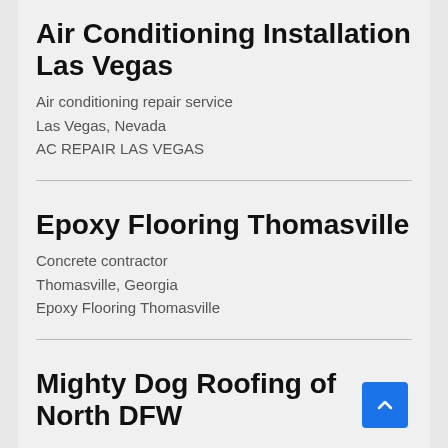Air Conditioning Installation Las Vegas
Air conditioning repair service
Las Vegas, Nevada
AC REPAIR LAS VEGAS
Epoxy Flooring Thomasville
Concrete contractor
Thomasville, Georgia
Epoxy Flooring Thomasville
Mighty Dog Roofing of North DFW